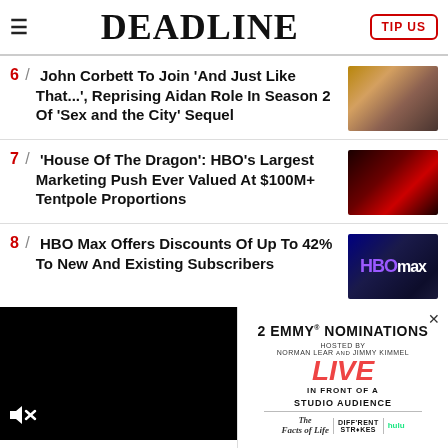DEADLINE
6 / John Corbett To Join 'And Just Like That...', Reprising Aidan Role In Season 2 Of 'Sex and the City' Sequel
7 / 'House Of The Dragon': HBO's Largest Marketing Push Ever Valued At $100M+ Tentpole Proportions
8 / HBO Max Offers Discounts Of Up To 42% To New And Existing Subscribers
[Figure (screenshot): Video player with mute icon, black background]
[Figure (advertisement): 2 Emmy Nominations ad - Live In Front Of A Studio Audience, hosted by Norman Lear and Jimmy Kimmel, showing Facts of Life and Diff'rent Strokes, streaming on Hulu]